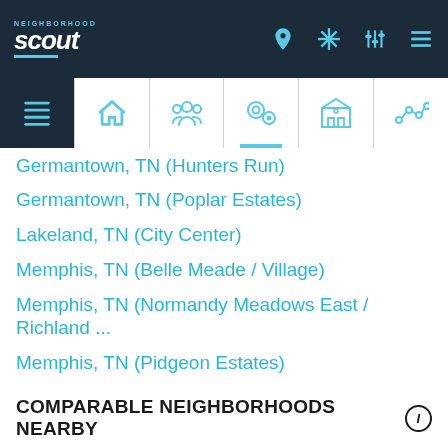Neighborhood Scout - Navigation header with logo and icons
Germantown, TN (Hunters Run)
Germantown, TN (Poplar Estates)
Lakeland, TN (City Center)
Memphis, TN (Belle Meade / Village)
Memphis, TN (Normandy Meadows East / Richland ...
Memphis, TN (Pidgeon Estates)
Memphis, TN (Red Acres / High Point Terrace)
Memphis, TN (River Oaks / Brierwood)
Memphis, TN (White Station)
COMPARABLE NEIGHBORHOODS NEARBY